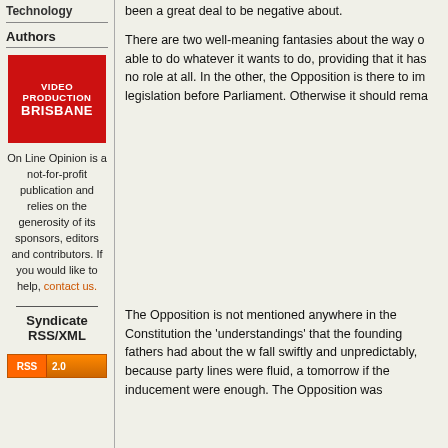Technology
Authors
[Figure (illustration): Red advertisement image for Video Production Brisbane with white bold text]
On Line Opinion is a not-for-profit publication and relies on the generosity of its sponsors, editors and contributors. If you would like to help, contact us.
Syndicate RSS/XML
[Figure (other): RSS 2.0 badge in orange]
There are two well-meaning fantasies about the way o... able to do whatever it wants to do, providing that it has... no role at all. In the other, the Opposition is there to im... legislation before Parliament. Otherwise it should rema...
The Opposition is not mentioned anywhere in the Constitution... the 'understandings' that the founding fathers had about the w... fall swiftly and unpredictably, because party lines were fluid, a... tomorrow if the inducement were enough. The Opposition was...
[Figure (other): Support OLO tab on right side, blue vertical banner]